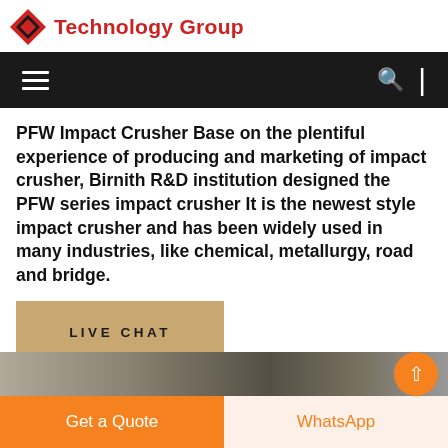Technology Group
PFW Impact Crusher Base on the plentiful experience of producing and marketing of impact crusher, Birnith R&D institution designed the PFW series impact crusher It is the newest style impact crusher and has been widely used in many industries, like chemical, metallurgy, road and bridge.
[Figure (other): Live Chat button — tan/khaki colored rectangular button with text LIVE CHAT]
[Figure (photo): Partial photo strip of industrial equipment at bottom of page]
Get a Quote | WhatsApp